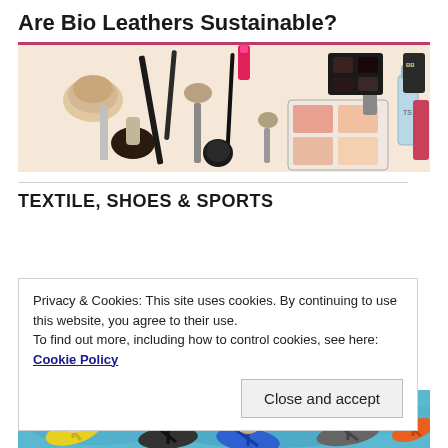Are Bio Leathers Sustainable?
[Figure (photo): Assorted cosmetics and makeup tools including brushes, pencils, lipstick, eyeshadow palette, and beauty products spread out on white background]
TEXTILE, SHOES & SPORTS
Privacy & Cookies: This site uses cookies. By continuing to use this website, you agree to their use.
To find out more, including how to control cookies, see here: Cookie Policy
Close and accept
[Figure (photo): Feet wearing colorful flip-flops near water, including yellow, blue, gray, and orange sandals]